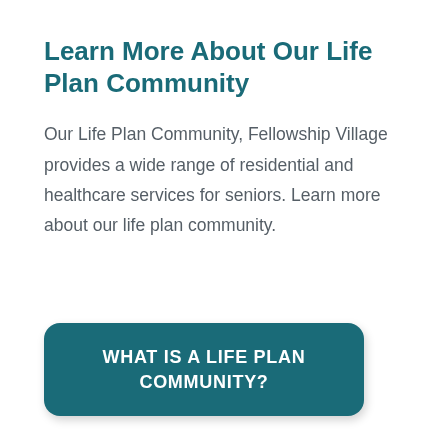Learn More About Our Life Plan Community
Our Life Plan Community, Fellowship Village provides a wide range of residential and healthcare services for seniors. Learn more about our life plan community.
WHAT IS A LIFE PLAN COMMUNITY?